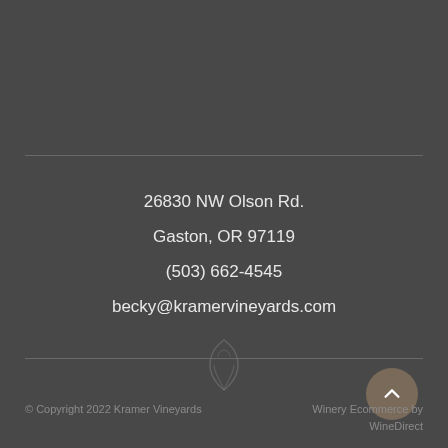26830 NW Olson Rd.
Gaston, OR 97119
(503) 662-4545
becky@kramervineyards.com
[Figure (illustration): Decorative vine/grape leaf icon watermark centered near bottom rule]
© Copyright 2022 Kramer Vineyards    Winery Ecommerce by WineDirect